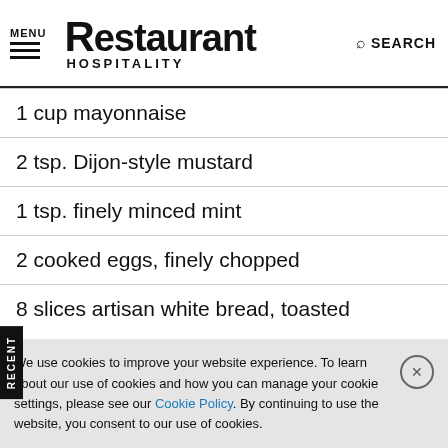MENU | Restaurant HOSPITALITY | SEARCH
1 cup mayonnaise
2 tsp. Dijon-style mustard
1 tsp. finely minced mint
2 cooked eggs, finely chopped
8 slices artisan white bread, toasted
We use cookies to improve your website experience. To learn about our use of cookies and how you can manage your cookie settings, please see our Cookie Policy. By continuing to use the website, you consent to our use of cookies.